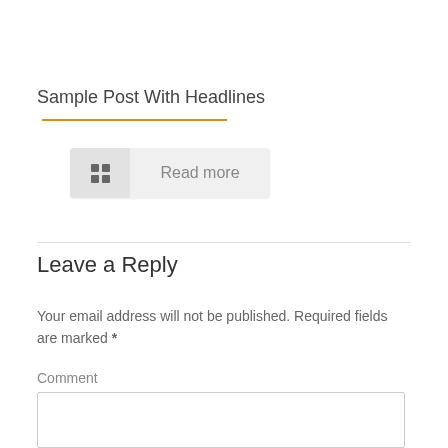Sample Post With Headlines
[Figure (other): Read more button with grid icon and orange underline separator]
Leave a Reply
Your email address will not be published. Required fields are marked *
Comment